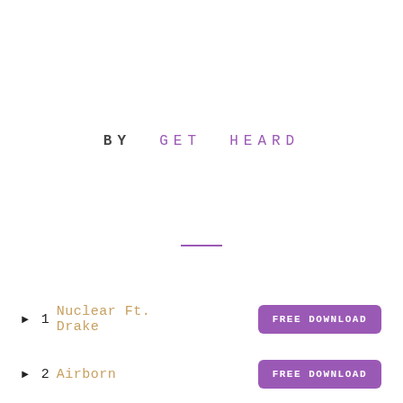BY GET HEARD
[Figure (other): A short horizontal purple divider line]
1 Nuclear Ft. Drake — FREE DOWNLOAD
2 Airborn — FREE DOWNLOAD